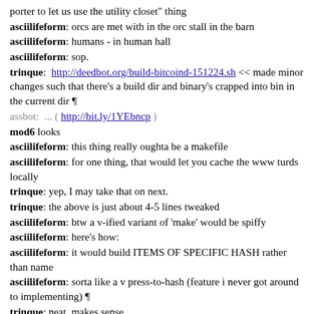porter to let us use the utility closet" thing
asciilifeform: orcs are met with in the orc stall in the barn
asciilifeform: humans - in human hall
asciilifeform: sop.
trinque:  http://deedbot.org/build-bitcoind-151224.sh << made minor changes such that there's a build dir and binary's crapped into bin in the current dir ¶
assbot:  ... ( http://bit.ly/1YEbncp )
mod6 looks
asciilifeform: this thing really oughta be a makefile
asciilifeform: for one thing, that would let you cache the www turds locally
trinque: yep, I may take that on next.
trinque: the above is just about 4-5 lines tweaked
asciilifeform: btw a v-ified variant of 'make' would be spiffy
asciilifeform: here's how:
asciilifeform: it would build ITEMS OF SPECIFIC HASH rather than name
asciilifeform: sorta like a v press-to-hash (feature i never got around to implementing) ¶
trinque: neat, makes sense.
asciilifeform: (take a known hash, do whatever is necessary to end up with file of that hash)
asciilifeform: curl -s http://openssl.org/source/old/1.0.1/openssl-1.0.1g.tar.gz -o distfiles/openssl-1.0.1g.tar.gz << we're still doing